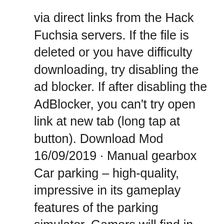via direct links from the Hack Fuchsia servers. If the file is deleted or you have difficulty downloading, try disabling the ad blocker. If after disabling the AdBlocker, you can't try open link at new tab (long tap at button). Download Mod 16/09/2019 · Manual gearbox Car parking – high-quality, impressive in its gameplay features of the parking simulator. Gamers will find in the project good graphics, a damage system for the numerous car models available for driving, large open locations, difficulty settings, as well as missions with various levels of skill requirements for drivers, as well as much more that will allow you to enjoy freedom